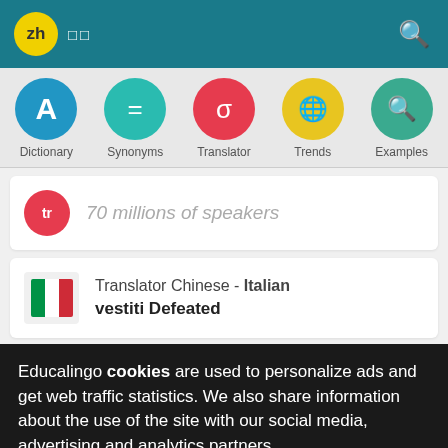zh □□
[Figure (screenshot): App navigation menu with icons: Dictionary (blue circle A), Synonyms (teal circle =), Translator (red circle σ), Trends (yellow circle globe), Examples (green circle magnifier)]
70 millions of speakers
Translator Chinese - Italian
vestiti Defeated
Educalingo cookies are used to personalize ads and get web traffic statistics. We also share information about the use of the site with our social media, advertising and analytics partners.
View details   Got it